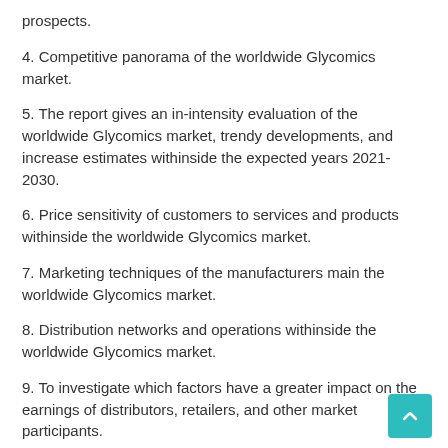prospects.
4. Competitive panorama of the worldwide Glycomics market.
5. The report gives an in-intensity evaluation of the worldwide Glycomics market, trendy developments, and increase estimates withinside the expected years 2021-2030.
6. Price sensitivity of customers to services and products withinside the worldwide Glycomics market.
7. Marketing techniques of the manufacturers main the worldwide Glycomics market.
8. Distribution networks and operations withinside the worldwide Glycomics market.
9. To investigate which factors have a greater impact on the earnings of distributors, retailers, and other market participants.